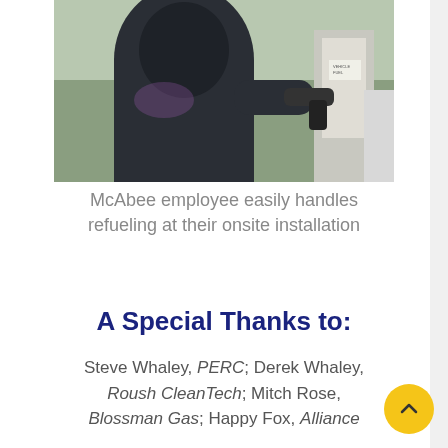[Figure (photo): Person in dark jacket refueling a vehicle at an onsite propane/fuel installation station]
McAbee employee easily handles refueling at their onsite installation
A Special Thanks to:
Steve Whaley, PERC; Derek Whaley, Roush CleanTech; Mitch Rose, Blossman Gas; Happy Fox, Alliance